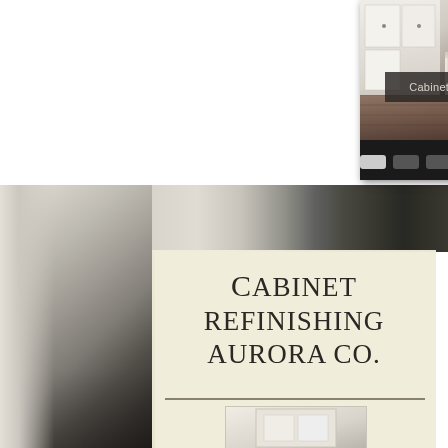[Figure (photo): Screenshot of a website showing a kitchen with white cabinets and dark wood floors, with a dark overlay label reading 'Cabinet Refinishing Denver' and pagination dots below it, displayed against a dark background widget]
[Figure (photo): Background photo of white kitchen cabinets with dark hardwood floors, left side of the page]
CABINET REFINISHING AURORA CO.
[Figure (photo): Small preview image of white cabinet/door at the bottom of the cream box]